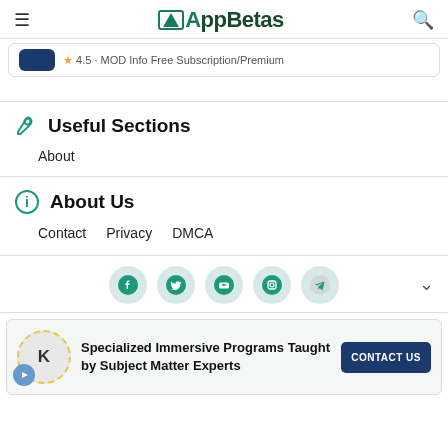AppBetas
4.5 · MOD Info Free Subscription/Premium
Useful Sections
About
About Us
Contact   Privacy   DMCA
[Figure (infographic): Social media icons: Facebook, Twitter, YouTube, Instagram, Telegram]
Specialized Immersive Programs Taught by Subject Matter Experts
CONTACT US